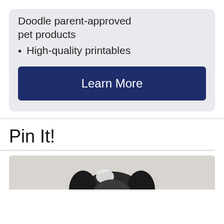Doodle parent-approved pet products
High-quality printables
Learn More
Pin It!
[Figure (photo): A dog's head visible at the bottom of the image]